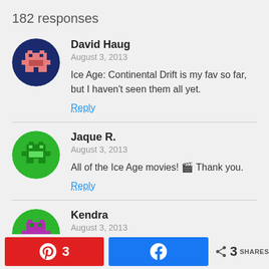182 responses
David Haug
August 3, 2013
Ice Age: Continental Drift is my fav so far, but I haven't seen them all yet.
Reply
Jaque R.
August 3, 2013
All of the Ice Age movies! 🎬 Thank you.
Reply
Kendra
August 3, 2013
Pinterest 3 | Facebook | < 3 SHARES